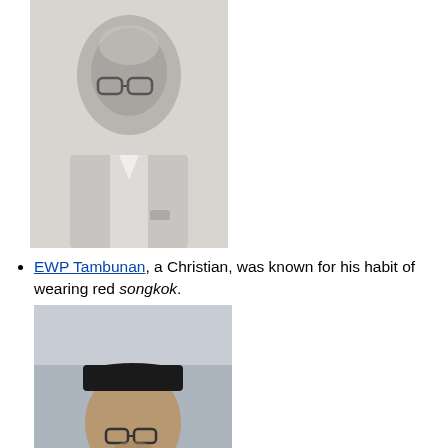[Figure (photo): Black and white photo of EWP Tambunan, a man wearing glasses and a collared shirt]
EWP Tambunan, a Christian, was known for his habit of wearing red songkok.
[Figure (photo): Color photo of Murad Ebrahim wearing a black songkok, glasses, and a suit with a tie]
Murad Ebrahim, Chief Minister of the Bangsamoro Region, southern Philippines
[Figure (photo): Partial color photo of a third person, cropped at the bottom of the page]